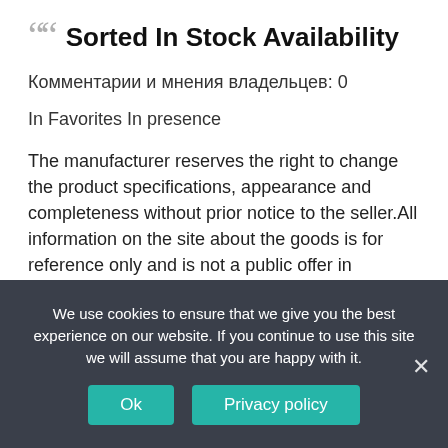Sorted In Stock Availability
Комментарии и мнения владельцев: 0
In Favorites In presence
The manufacturer reserves the right to change the product specifications, appearance and completeness without prior notice to the seller.All information on the site about the goods is for reference only and is not a public offer in accordance with paragraph 2 of Article 437 of the Civil Code We earnestly ask you to check the availability of the desired functions and features when buying.
We use cookies to ensure that we give you the best experience on our website. If you continue to use this site we will assume that you are happy with it.
Ok
Privacy policy